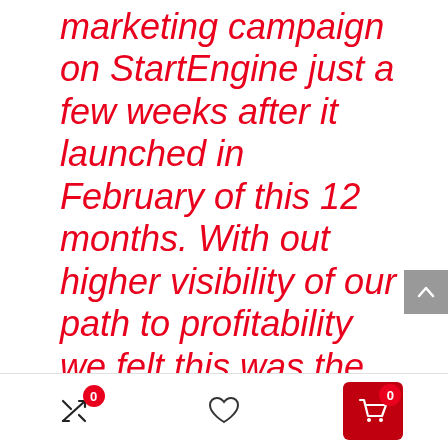marketing campaign on StartEngine just a few weeks after it launched in February of this 12 months. With out higher visibility of our path to profitability we felt this was the correct choice within the brief time period. Any funds dedicated by StartEngine traders as a part of the marketing campaign had been returned in full. In fact, this required us to take different monetary measures to